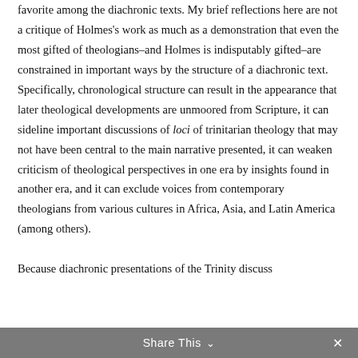favorite among the diachronic texts. My brief reflections here are not a critique of Holmes's work as much as a demonstration that even the most gifted of theologians–and Holmes is indisputably gifted–are constrained in important ways by the structure of a diachronic text. Specifically, chronological structure can result in the appearance that later theological developments are unmoored from Scripture, it can sideline important discussions of loci of trinitarian theology that may not have been central to the main narrative presented, it can weaken criticism of theological perspectives in one era by insights found in another era, and it can exclude voices from contemporary theologians from various cultures in Africa, Asia, and Latin America (among others). Because diachronic presentations of the Trinity discuss
Share This ∨  ✕